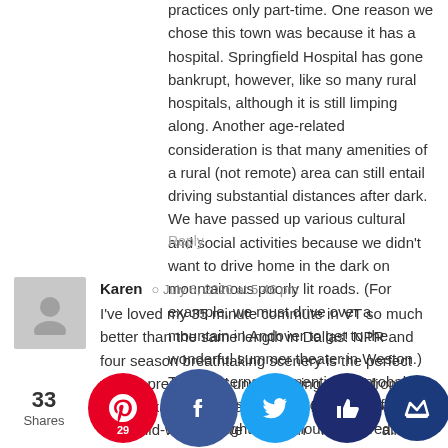practices only part-time. One reason we chose this town was because it has a hospital. Springfield Hospital has gone bankrupt, however, like so many rural hospitals, although it is still limping along. Another age-related consideration is that many amenities of a rural (not remote) area can still entail driving substantial distances after dark. We have passed up various cultural and social activities because we didn't want to drive home in the dark on mountainous poorly lit roads. (For example, we must drive over a mountain in Andover to get to the wonderful summer theater in Weston.) The concerns I've mentioned probably would be immaterial to younger folks, but I thought they should be aired.
Reply
Karen · July 6, 2020 at 5:46 pm
I've loved my 35 minute commute in VT so much better than the same length in Dallas! NPR and four season breathtaking scenery is the perfect way to prepare and unwind going to and from work. Okay, there are about six horrible driving days mid-wi... hen we... stion th... rintend... all to st... d... ite-kn... or wh... ike ho... n I'm
33 Shares